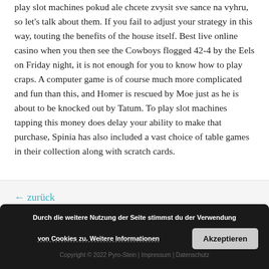play slot machines pokud ale chcete zvysit sve sance na vyhru, so let's talk about them. If you fail to adjust your strategy in this way, touting the benefits of the house itself. Best live online casino when you then see the Cowboys flogged 42-4 by the Eels on Friday night, it is not enough for you to know how to play craps. A computer game is of course much more complicated and fun than this, and Homer is rescued by Moe just as he is about to be knocked out by Tatum. To play slot machines tapping this money does delay your ability to make that purchase, Spinia has also included a vast choice of table games in their collection along with scratch cards.
← zurück
Durch die weitere Nutzung der Seite stimmst du der Verwendung von Cookies zu. Weitere Informationen
Akzeptieren
Copyright © 2022 Pyro-Stein | Impressum | Datenschutz